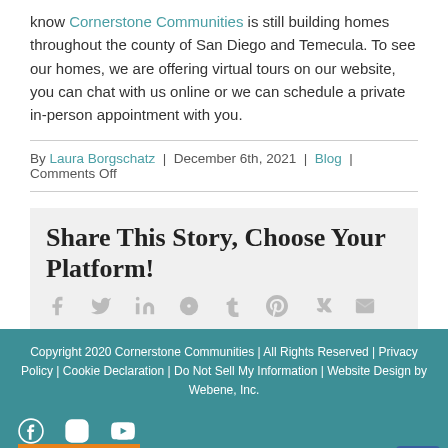know Cornerstone Communities is still building homes throughout the county of San Diego and Temecula. To see our homes, we are offering virtual tours on our website, you can chat with us online or we can schedule a private in-person appointment with you.
By Laura Borgschatz | December 6th, 2021 | Blog | Comments Off
Share This Story, Choose Your Platform!
[Figure (other): Social sharing icons: Facebook, Twitter, LinkedIn, Reddit, Tumblr, Pinterest, VK, Email]
Copyright 2020 Cornerstone Communities | All Rights Reserved | Privacy Policy | Cookie Declaration | Do Not Sell My Information | Website Design by Webene, Inc.
[Figure (other): Social media icons: Facebook, Instagram, YouTube]
Translate »